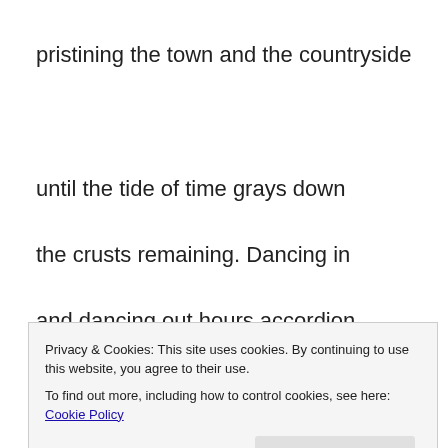pristining the town and the countryside
until the tide of time grays down
the crusts remaining. Dancing in
and dancing out hours accordion
shaning the light, day and night
and the sound of the wind, and
Privacy & Cookies: This site uses cookies. By continuing to use this website, you agree to their use.
To find out more, including how to control cookies, see here: Cookie Policy